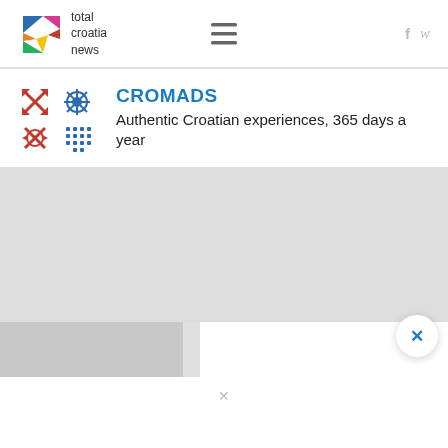total croatia news
[Figure (logo): Total Croatia News logo — multicolor C shape with text 'total croatia news']
[Figure (logo): CROMADS logo — red and blue snowflake/cross pattern icons]
CROMADS
Authentic Croatian experiences, 365 days a year
[Figure (photo): Grey placeholder content area with a white popup overlay and blue X close button in bottom-right corner]